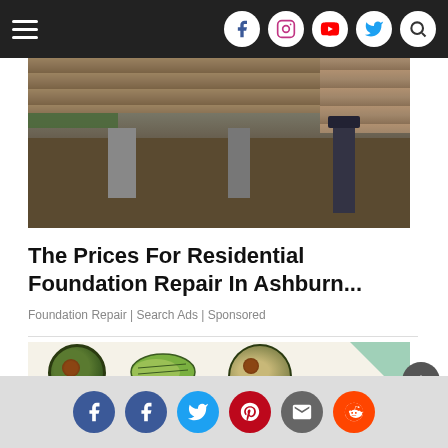Navigation bar with hamburger menu and social icons
[Figure (photo): Foundation repair photo showing wooden siding being lifted with hydraulic jacks on stone pillars in a crawl space]
The Prices For Residential Foundation Repair In Ashburn...
Foundation Repair | Search Ads | Sponsored
[Figure (photo): Various avocado preparations: halved avocado with seed, sliced avocado, avocado half on board with seed]
Social sharing buttons: Facebook, Facebook, Twitter, Pinterest, Email, Reddit